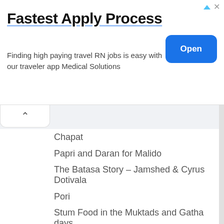[Figure (screenshot): Advertisement banner: 'Fastest Apply Process' with subtitle 'Finding high paying travel RN jobs is easy with our traveler app Medical Solutions' and a blue 'Open' button]
Chapat
Papri and Daran for Malido
The Batasa Story – Jamshed & Cyrus Dotivala
Pori
Stum Food in the Muktads and Gatha days explained from Udvada
Muktad, Malido and Memories
Madavsaro
Mehran Restaurant & Catering